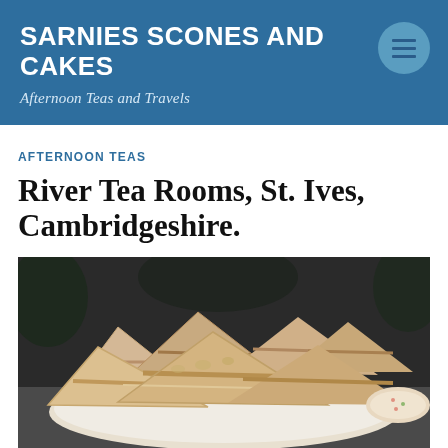SARNIES SCONES AND CAKES
Afternoon Teas and Travels
AFTERNOON TEAS
River Tea Rooms, St. Ives, Cambridgeshire.
[Figure (photo): A plate of thick-cut triangular sandwiches, filled with what appears to be egg or chicken salad, served on a white plate outdoors on a metal table.]